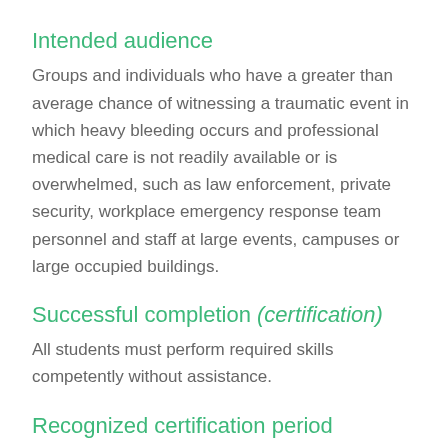Intended audience
Groups and individuals who have a greater than average chance of witnessing a traumatic event in which heavy bleeding occurs and professional medical care is not readily available or is overwhelmed, such as law enforcement, private security, workplace emergency response team personnel and staff at large events, campuses or large occupied buildings.
Successful completion (certification)
All students must perform required skills competently without assistance.
Recognized certification period
Two years.